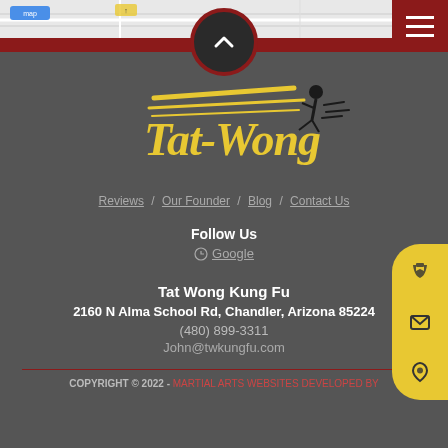[Figure (screenshot): Map bar at top of page showing partial street map]
[Figure (logo): Tat Wong Kung Fu logo with yellow stylized text and martial artist silhouette]
Reviews / Our Founder / Blog / Contact Us
Follow Us
Google
Tat Wong Kung Fu
2160 N Alma School Rd, Chandler, Arizona 85224
(480) 899-3311
John@twkungfu.com
COPYRIGHT © 2022 - MARTIAL ARTS WEBSITES DEVELOPED BY